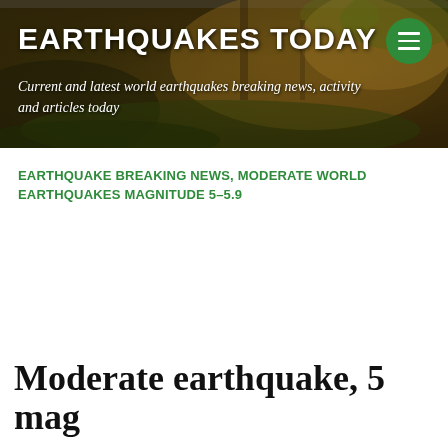[Figure (photo): Website header banner showing forest/moss background with dark overlay, displaying 'EARTHQUAKES TODAY' site branding with subtitle and green hamburger menu button]
EARTHQUAKES TODAY
Current and latest world earthquakes breaking news, activity and articles today
EARTHQUAKE BREAKING NEWS, MODERATE WORLD EARTHQUAKES MAGNITUDE 5–5.9
Moderate earthquake, 5 mag